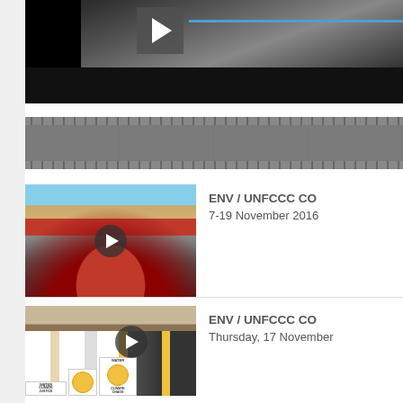[Figure (screenshot): Video player showing a crowd scene with play button and progress bar, dark background]
[Figure (screenshot): Film strip / video timeline bar with grey cells and dotted sprocket holes]
[Figure (photo): Crowd of protesters with flags and red banner reading 'WIL', play button overlay — ENV / UNFCCC COP video thumbnail]
ENV / UNFCCC CO
7-19 November 2016
[Figure (photo): Group of people holding WATER and CLIMATE JUSTICE signs, play button overlay — ENV / UNFCCC COP video thumbnail]
ENV / UNFCCC CO
Thursday, 17 November